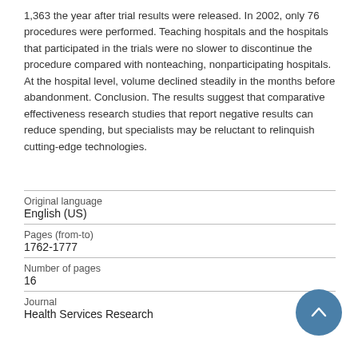1,363 the year after trial results were released. In 2002, only 76 procedures were performed. Teaching hospitals and the hospitals that participated in the trials were no slower to discontinue the procedure compared with nonteaching, nonparticipating hospitals. At the hospital level, volume declined steadily in the months before abandonment. Conclusion. The results suggest that comparative effectiveness research studies that report negative results can reduce spending, but specialists may be reluctant to relinquish cutting-edge technologies.
| Original language | English (US) |
| Pages (from-to) | 1762-1777 |
| Number of pages | 16 |
| Journal | Health Services Research |